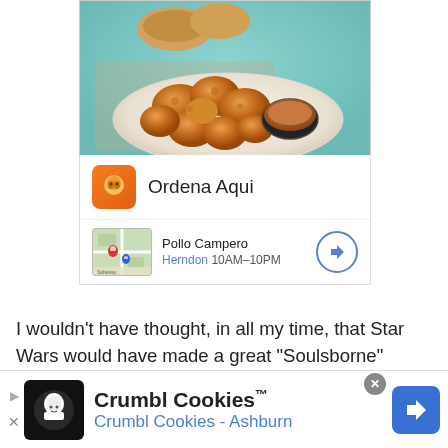[Figure (photo): Photo of fried chicken nuggets on a white plate with dipping sauce, bread in background on teal surface]
[Figure (screenshot): Ad card: Ordena Aqui with orange icon and Pollo Campero Herndon 10AM-10PM map thumbnail]
I wouldn't have thought, in all my time, that Star Wars would have made a great “Soulsborne” game.
STAR WARS: JEDI FALLEN ORDER REVIEW
[Figure (screenshot): Bottom advertisement banner: Crumbl Cookies™ - Crumbl Cookies - Ashburn with black logo box and blue navigation arrow icon]